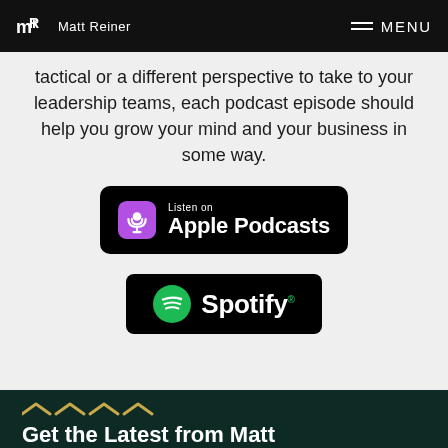Matt Reiner | MENU
tactical or a different perspective to take to your leadership teams, each podcast episode should help you grow your mind and your business in some way.
[Figure (logo): Listen on Apple Podcasts badge — black rounded rectangle with purple podcast icon and white text]
[Figure (logo): Spotify badge — black rounded rectangle with green Spotify logo and white Spotify wordmark]
Get the Latest from Matt